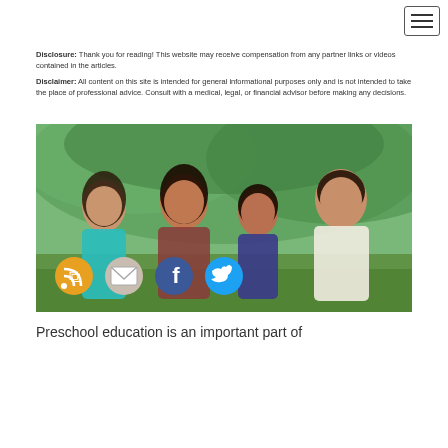Disclosure: Thank you for reading!  This website may receive compensation from any partner links or videos contained in the articles.
Disclaimer: All content on this site is intended for general informational purposes only and is not intended to take the place of professional advice. Consult with a medical, legal, or financial advisor before making any decisions.
[Figure (photo): A family of four — mother, father, daughter, and son — sitting together outdoors under trees, smiling and laughing. Social media sharing icons (RSS, email, Facebook, Twitter) are overlaid at the bottom left of the image.]
Preschool education is an important part of